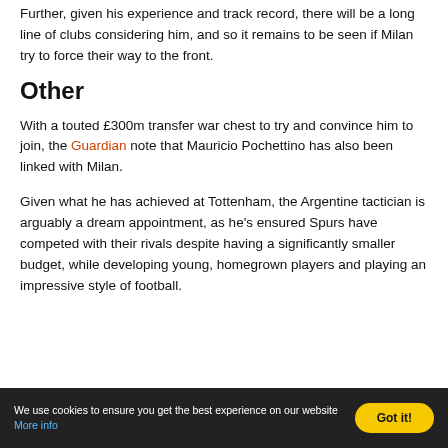Further, given his experience and track record, there will be a long line of clubs considering him, and so it remains to be seen if Milan try to force their way to the front.
Other
With a touted £300m transfer war chest to try and convince him to join, the Guardian note that Mauricio Pochettino has also been linked with Milan.
Given what he has achieved at Tottenham, the Argentine tactician is arguably a dream appointment, as he's ensured Spurs have competed with their rivals despite having a significantly smaller budget, while developing young, homegrown players and playing an impressive style of football.
We use cookies to ensure you get the best experience on our website More info | Got it!